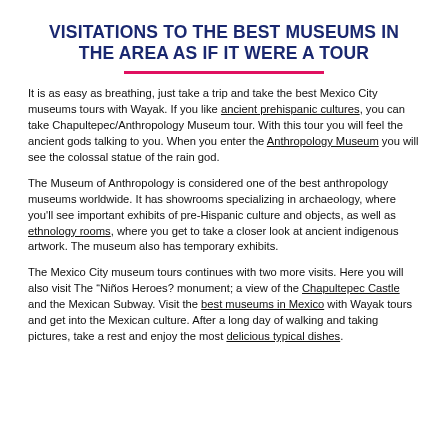VISITATIONS TO THE BEST MUSEUMS IN THE AREA AS IF IT WERE A TOUR
It is as easy as breathing, just take a trip and take the best Mexico City museums tours with Wayak. If you like ancient prehispanic cultures, you can take Chapultepec/Anthropology Museum tour. With this tour you will feel the ancient gods talking to you. When you enter the Anthropology Museum you will see the colossal statue of the rain god.
The Museum of Anthropology is considered one of the best anthropology museums worldwide. It has showrooms specializing in archaeology, where you'll see important exhibits of pre-Hispanic culture and objects, as well as ethnology rooms, where you get to take a closer look at ancient indigenous artwork. The museum also has temporary exhibits.
The Mexico City museum tours continues with two more visits. Here you will also visit The "Niños Heroes? monument; a view of the Chapultepec Castle and the Mexican Subway. Visit the best museums in Mexico with Wayak tours and get into the Mexican culture. After a long day of walking and taking pictures, take a rest and enjoy the most delicious typical dishes.